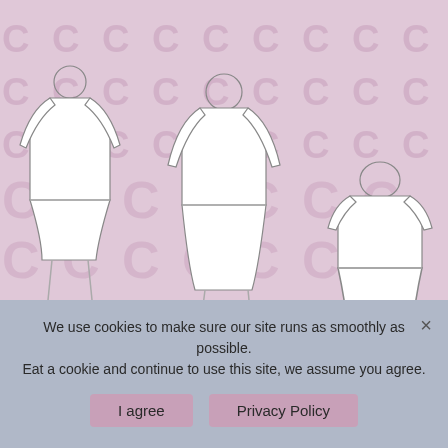[Figure (illustration): Fashion illustration showing three views of the 'Regina' dress/top pattern on a pink background with watermark 'C' letters pattern. Left figure shows front view of short dress with long sleeves, center shows back view of knee-length dress with long sleeves, right shows partial back view of cropped top with short sleeves. Text 'Regina' in cursive at the bottom of the illustration area.]
We use cookies to make sure our site runs as smoothly as possible. Eat a cookie and continue to use this site, we assume you agree.
I agree
Privacy Policy